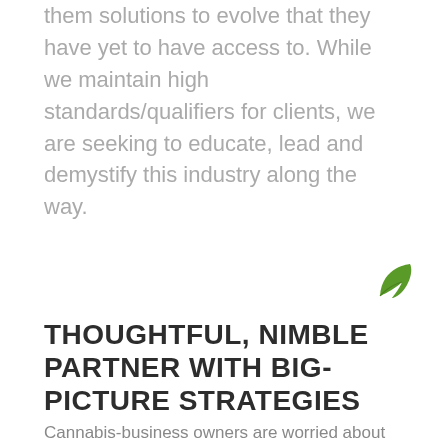them solutions to evolve that they have yet to have access to. While we maintain high standards/qualifiers for clients, we are seeking to educate, lead and demystify this industry along the way.
[Figure (illustration): Green leaf icon/logo in the lower right area]
THOUGHTFUL, NIMBLE PARTNER WITH BIG-PICTURE STRATEGIES
Cannabis-business owners are worried about